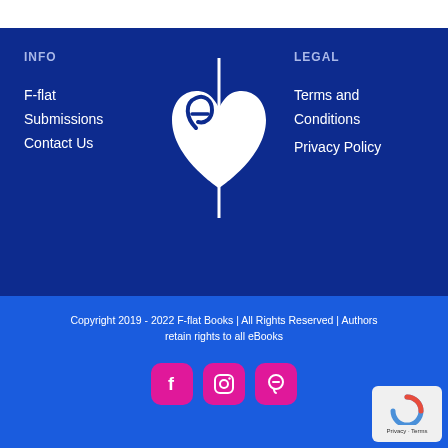INFO
F-flat
Submissions
Contact Us
[Figure (logo): F-flat Books logo: white heart shape with musical note stem]
LEGAL
Terms and Conditions
Privacy Policy
Copyright 2019 - 2022 F-flat Books | All Rights Reserved | Authors retain rights to all eBooks
[Figure (logo): Social media icons: Facebook, Instagram, Pinterest on pink rounded square buttons]
[Figure (logo): Google reCAPTCHA badge with Privacy and Terms links]